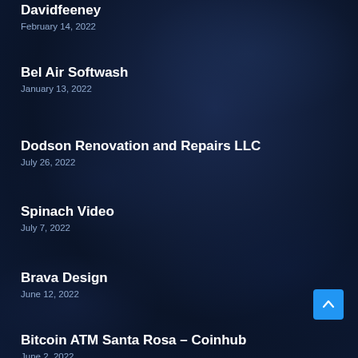Davidfeeney
February 14, 2022
Bel Air Softwash
January 13, 2022
Dodson Renovation and Repairs LLC
July 26, 2022
Spinach Video
July 7, 2022
Brava Design
June 12, 2022
Bitcoin ATM Santa Rosa – Coinhub
June 2, 2022